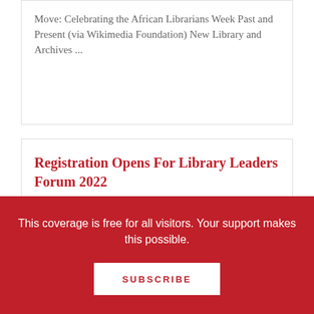Move: Celebrating the African Librarians Week Past and Present (via Wikimedia Foundation) New Library and Archives ...
Registration Opens For Library Leaders Forum 2022
From The Internet Archive Blog: Join experts from the library, copyright, and information policy fields for a series of conversations exploring issues related to digital ownership and the future of ...
This coverage is free for all visitors. Your support makes this possible.
SUBSCRIBE